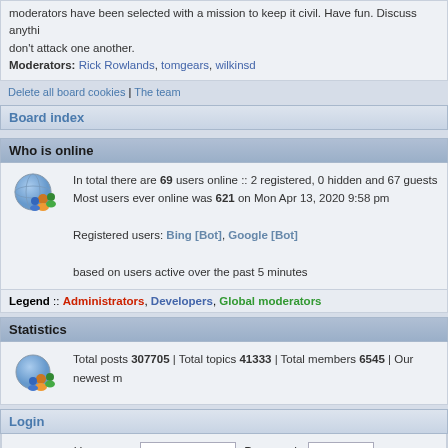moderators have been selected with a mission to keep it civil. Have fun. Discuss anythi... don't attack one another.
Moderators: Rick Rowlands, tomgears, wilkinsd
Delete all board cookies | The team
Board index
Who is online
In total there are 69 users online :: 2 registered, 0 hidden and 67 guests
Most users ever online was 621 on Mon Apr 13, 2020 9:58 pm

Registered users: Bing [Bot], Google [Bot]

based on users active over the past 5 minutes
Legend :: Administrators, Developers, Global moderators
Statistics
Total posts 307705 | Total topics 41333 | Total members 6545 | Our newest m...
Login
Username: [input] Password: [input]
New posts   No ne...